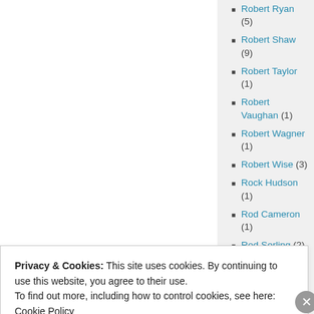Robert Ryan (5)
Robert Shaw (9)
Robert Taylor (1)
Robert Vaughan (1)
Robert Wagner (1)
Robert Wise (3)
Rock Hudson (1)
Rod Cameron (1)
Rod Serling (2)
Rod Taylor (7)
Roddy McDowall (3)
Roger Corman (30)
Privacy & Cookies: This site uses cookies. By continuing to use this website, you agree to their use.
To find out more, including how to control cookies, see here: Cookie Policy
Close and accept